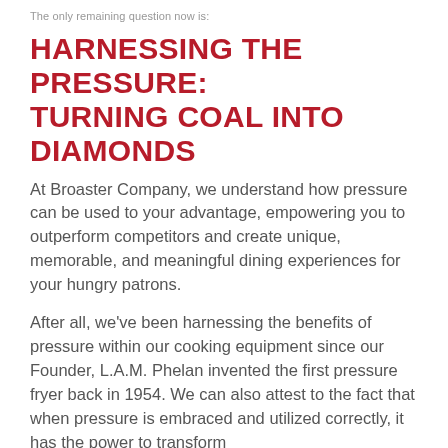The only remaining question now is:
HARNESSING THE PRESSURE: TURNING COAL INTO DIAMONDS
At Broaster Company, we understand how pressure can be used to your advantage, empowering you to outperform competitors and create unique, memorable, and meaningful dining experiences for your hungry patrons.
After all, we've been harnessing the benefits of pressure within our cooking equipment since our Founder, L.A.M. Phelan invented the first pressure fryer back in 1954. We can also attest to the fact that when pressure is embraced and utilized correctly, it has the power to transform